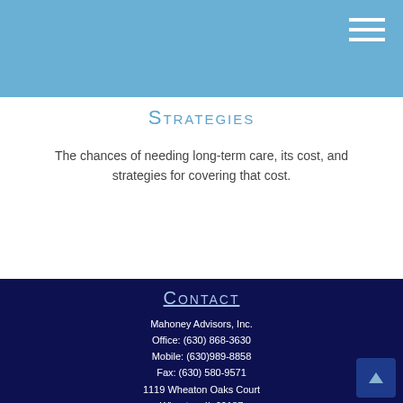Strategies
The chances of needing long-term care, its cost, and strategies for covering that cost.
Contact
Mahoney Advisors, Inc.
Office: (630) 868-3630
Mobile: (630)989-8858
Fax: (630) 580-9571
1119 Wheaton Oaks Court
Wheaton, IL 60187
Series 6, Series 62, Series 63, Series 65, Ins # 1915455
mike@mahoneyadvisors.com